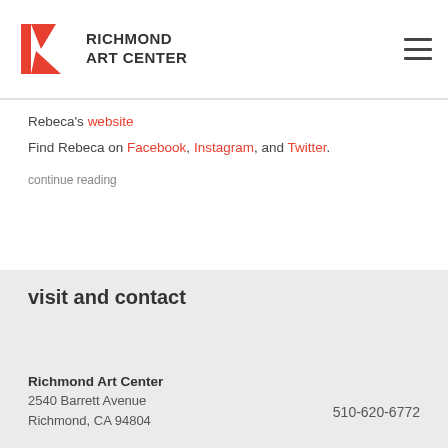RICHMOND ART CENTER
Rebeca's website
Find Rebeca on Facebook, Instagram, and Twitter.
continue reading
visit and contact
Richmond Art Center
2540 Barrett Avenue
Richmond, CA 94804
510-620-6772